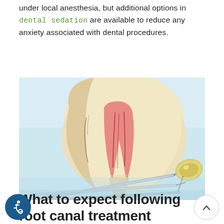under local anesthesia, but additional options in dental sedation are available to reduce any anxiety associated with dental procedures.
[Figure (photo): Photo of a large anatomical model of a tooth showing internal root canal structure, with dental instruments (probe, mirror, scaler) laid in front on a blue surface.]
What to expect following root canal treatment